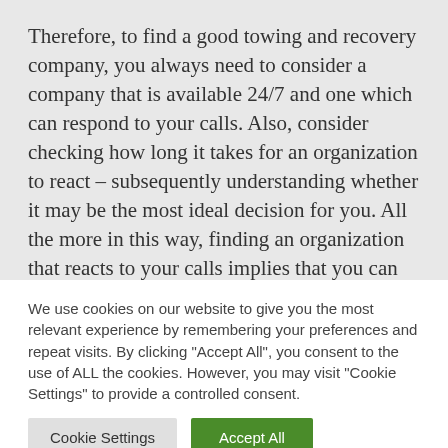Therefore, to find a good towing and recovery company, you always need to consider a company that is available 24/7 and one which can respond to your calls. Also, consider checking how long it takes for an organization to react – subsequently understanding whether it may be the most ideal decision for you. All the more in this way, finding an organization that reacts to your calls implies that you can be certain that they will consistently tow
We use cookies on our website to give you the most relevant experience by remembering your preferences and repeat visits. By clicking "Accept All", you consent to the use of ALL the cookies. However, you may visit "Cookie Settings" to provide a controlled consent.